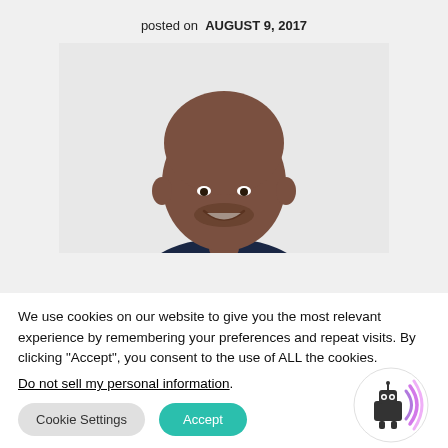posted on AUGUST 9, 2017
[Figure (photo): Professional headshot of a bald African American man in a dark suit and pink tie, smiling, on a white background]
We use cookies on our website to give you the most relevant experience by remembering your preferences and repeat visits. By clicking “Accept”, you consent to the use of ALL the cookies.
Do not sell my personal information.
[Figure (illustration): Robot icon with signal waves in pink/purple gradient circle]
Cookie Settings
Accept